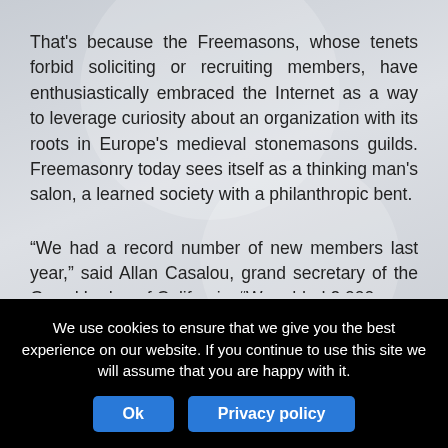That's because the Freemasons, whose tenets forbid soliciting or recruiting members, have enthusiastically embraced the Internet as a way to leverage curiosity about an organization with its roots in Europe's medieval stonemasons guilds. Freemasonry today sees itself as a thinking man's salon, a learned society with a philanthropic bent.
“We had a record number of new members last year,” said Allan Casalou, grand secretary of the Grand Lodge of California. “We added 2,000 men, which is the most since 1998 and our seventh straight year of membership increase.”
We use cookies to ensure that we give you the best experience on our website. If you continue to use this site we will assume that you are happy with it.